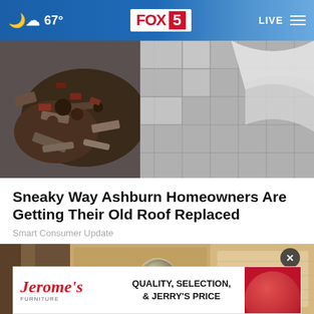FOX 5 — 67° — LIVE
[Figure (photo): Damaged roof with broken shingles and debris]
Sneaky Way Ashburn Homeowners Are Getting Their Old Roof Replaced
Smart Consumer Update
[Figure (photo): Close-up of a door knob wrapped in aluminum foil on a wooden door]
[Figure (other): Jerome's Furniture advertisement: QUALITY, SELECTION, & JERRY'S PRICE]